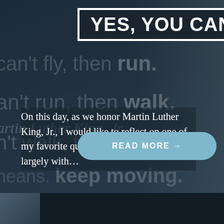[Figure (photo): Dark background with Martin Luther King Jr. silhouette and motivational quote text overlay about flying, running, walking, crawling, and keep moving]
YES, YOU CAN!
On this day, as we honor Martin Luther King, Jr., I would like to reflect on one of my favorite quotes of his:I have lived largely with...
READ MORE →